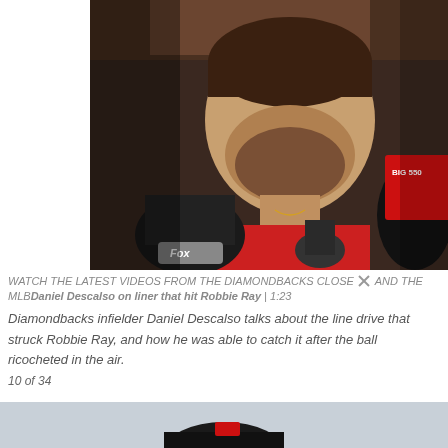[Figure (photo): A bearded man in a red shirt being interviewed by sports media with microphones including Fox and BIG 550. Locker room background.]
WATCH THE LATEST VIDEOS FROM THE DIAMONDBACKS CLOSE AND THE MLBDaniel Descalso on liner that hit Robbie Ray | 1:23
Diamondbacks infielder Daniel Descalso talks about the line drive that struck Robbie Ray, and how he was able to catch it after the ball ricocheted in the air.
10 of 34
[Figure (photo): Bottom portion of another photo, partially visible, showing a person with a helmet.]